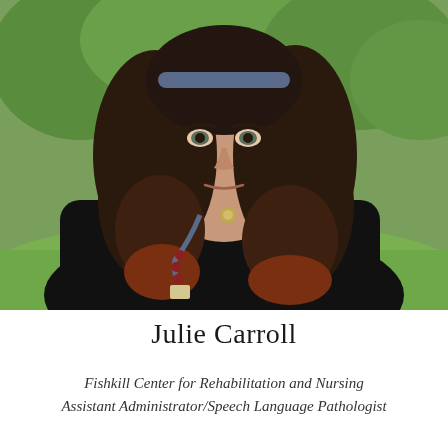[Figure (photo): Portrait photo of Julie Carroll, a woman with long dark curly hair with reddish tips, wearing a black long-sleeve top and a lanyard with a name tag. She is standing outdoors in front of a green grassy and leafy background, smiling slightly at the camera.]
Julie Carroll
Fishkill Center for Rehabilitation and Nursing
Assistant Administrator/Speech Language Pathologist